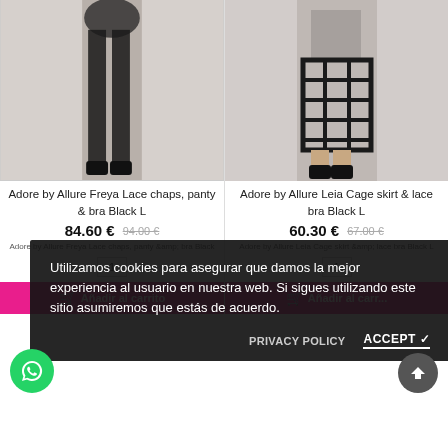[Figure (photo): Woman wearing black Adore by Allure Freya Lace chaps, panty & bra Black L — lace leggings style]
[Figure (photo): Woman wearing black Adore by Allure Leia Cage skirt & lace bra Black L — cage skirt style]
Adore by Allure Freya Lace chaps, panty & bra Black L
Adore by Allure Leia Cage skirt & lace bra Black L
84.60 € 94.00 €
60.30 € 67.00 €
Adore by Allure Freya Lace chaps, panty &amp; bra Black
Adore by Allure Leia Cage skirt &amp; lace bra Black L
Utilizamos cookies para asegurar que damos la mejor experiencia al usuario en nuestra web. Si sigues utilizando este sitio asumiremos que estás de acuerdo.
PRIVACY POLICY
ACCEPT ✓
Añadir al carrito
Añadir al carr...